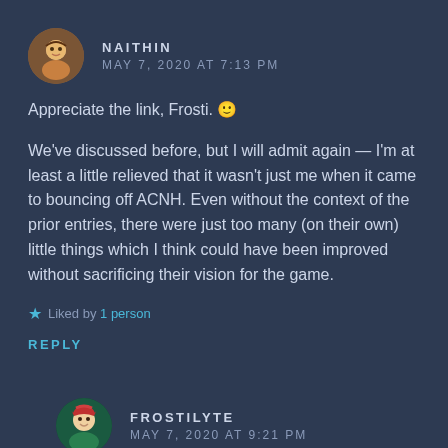NAITHIN — MAY 7, 2020 AT 7:13 PM
Appreciate the link, Frosti. 🙂
We've discussed before, but I will admit again — I'm at least a little relieved that it wasn't just me when it came to bouncing off ACNH. Even without the context of the prior entries, there were just too many (on their own) little things which I think could have been improved without sacrificing their vision for the game.
★ Liked by 1 person
REPLY
FROSTILYTE — MAY 7, 2020 AT 9:21 PM